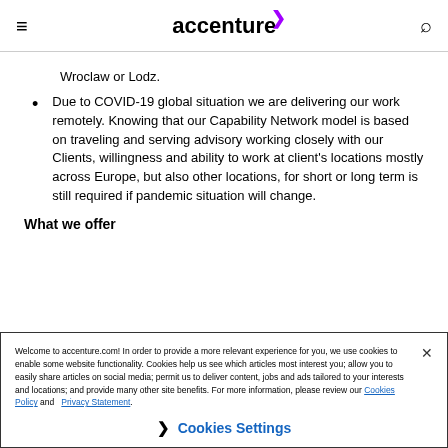accenture
Wroclaw or Lodz.
Due to COVID-19 global situation we are delivering our work remotely. Knowing that our Capability Network model is based on traveling and serving advisory working closely with our Clients, willingness and ability to work at client's locations mostly across Europe, but also other locations, for short or long term is still required if pandemic situation will change.
What we offer
Welcome to accenture.com! In order to provide a more relevant experience for you, we use cookies to enable some website functionality. Cookies help us see which articles most interest you; allow you to easily share articles on social media; permit us to deliver content, jobs and ads tailored to your interests and locations; and provide many other site benefits. For more information, please review our Cookies Policy and Privacy Statement.
Cookies Settings